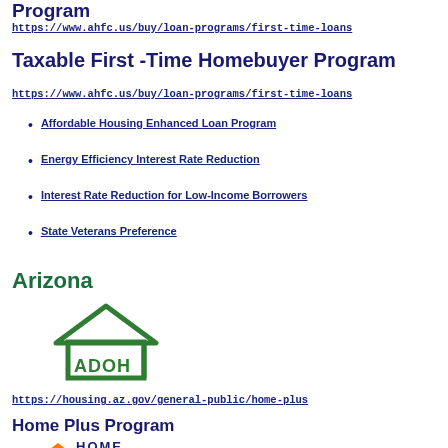Program
https://www.ahfc.us/buy/loan-programs/first-time-loans
Taxable First -Time Homebuyer Program
https://www.ahfc.us/buy/loan-programs/first-time-loans
Affordable Housing Enhanced Loan Program
Energy Efficiency Interest Rate Reduction
Interest Rate Reduction for Low-Income Borrowers
State Veterans Preference
Arizona
[Figure (logo): ADOH logo with green house icon and ADOH text]
https://housing.az.gov/general-public/home-plus
Home Plus Program
[Figure (logo): HOME logo partially visible at bottom]